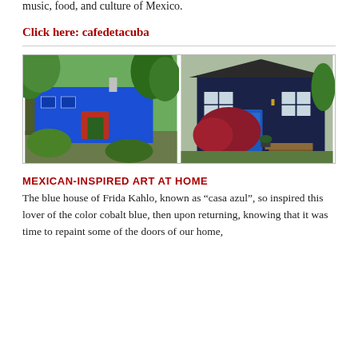music, food, and culture of Mexico.
Click here: cafedetacuba
[Figure (photo): Two photos side by side: left shows a bright blue building (Frida Kahlo's Casa Azul) surrounded by lush green trees and tropical plants with a red archway; right shows a dark navy blue house with white-trimmed windows and a blue door, red Japanese maple shrub in front, and wooden deck steps.]
MEXICAN-INSPIRED ART AT HOME
The blue house of Frida Kahlo, known as “casa azul”, so inspired this lover of the color cobalt blue, then upon returning, knowing that it was time to repaint some of the doors of our home,